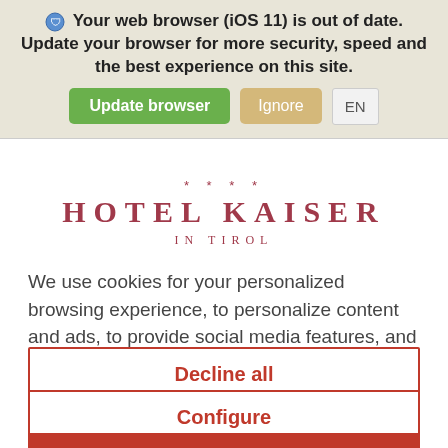[Figure (screenshot): Browser update warning banner with shield icon, text 'Your web browser (iOS 11) is out of date. Update your browser for more security, speed and the best experience on this site.' with green 'Update browser' button, tan 'Ignore' button, and grey 'EN' language selector.]
* * * *
HOTEL KAISER
IN TIROL
We use cookies for your personalized browsing experience, to personalize content and ads, to provide social media features, and to analyze traffic
Decline all
Configure
Accept all